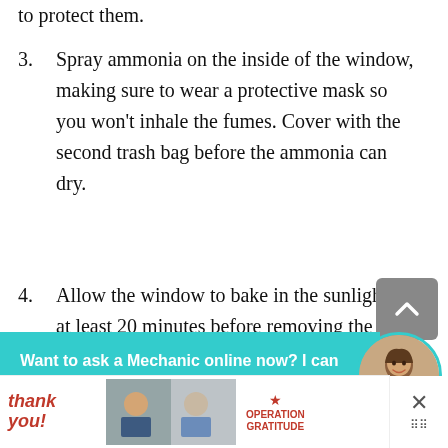to protect them.
3. Spray ammonia on the inside of the window, making sure to wear a protective mask so you won't inhale the fumes. Cover with the second trash bag before the ammonia can dry.
4. Allow the window to bake in the sunlight for at least 20 minutes before removing the bags
Want to ask a Mechanic online now? I can connect you ...
the tint away, spritzing with ammonia as